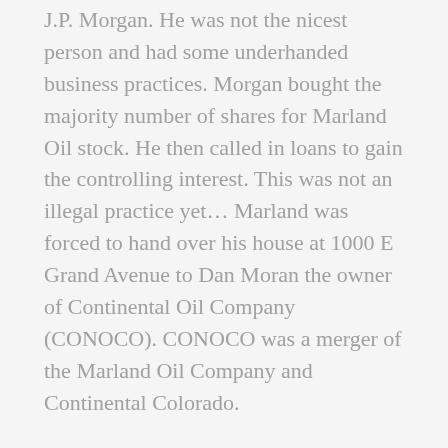J.P. Morgan. He was not the nicest person and had some underhanded business practices. Morgan bought the majority number of shares for Marland Oil stock. He then called in loans to gain the controlling interest. This was not an illegal practice yet... Marland was forced to hand over his house at 1000 E Grand Avenue to Dan Moran the owner of Continental Oil Company (CONOCO). CONOCO was a merger of the Marland Oil Company and Continental Colorado.
Did you know that Marland Oil would later become Continental Oil Company (CONOCO) now known as ConocoPhillips?!
E.W. Marland left the Marland Oil Company in 1928 and his son, George, left with him. Shortly after, the Stock Market Crashed and the Great Depression took hold across the United States. Marland wasn't able to start a new oil company and his assets were worth less